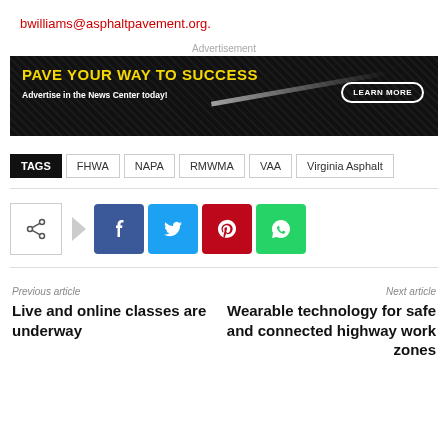bwilliams@asphaltpavement.org.
[Figure (other): Advertisement banner: dark asphalt texture background with yellow bold text 'PAVE YOUR WAY TO SUCCESS', white subtext 'Advertise in the News Center today!', and a 'LEARN MORE' button outlined in white on the right side.]
TAGS  FHWA  NAPA  RMWMA  VAA  Virginia Asphalt
[Figure (infographic): Social sharing buttons row: share icon box, arrow, then Facebook (blue), Twitter (cyan), Pinterest (red), WhatsApp (green) square icon buttons.]
Previous article
Live and online classes are underway
Next article
Wearable technology for safe and connected highway work zones